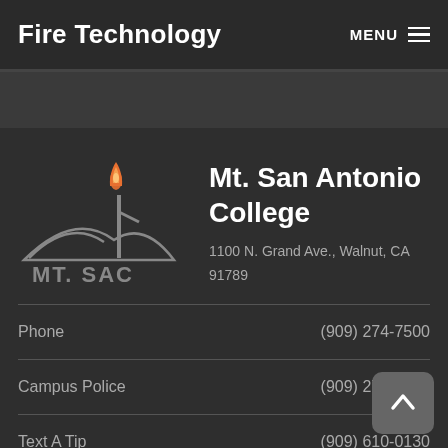Fire Technology
[Figure (logo): Mt. SAC logo with torch flame and mountain silhouette in gray and orange]
Mt. San Antonio College
1100 N. Grand Ave., Walnut, CA 91789
Phone (909) 274-7500
Campus Police (909) 274-4555
Text A Tip (909) 610-0130